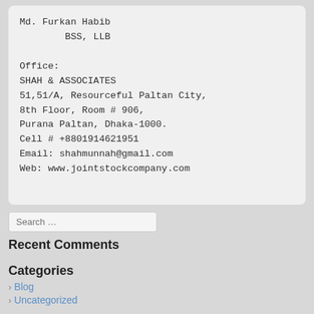Md. Furkan Habib
        BSS, LLB

Office:
SHAH & ASSOCIATES
51,51/A, Resourceful Paltan City,
8th Floor, Room # 906,
Purana Paltan, Dhaka-1000.
Cell # +8801914621951
Email: shahmunnah@gmail.com
Web: www.jointstockcompany.com
Recent Comments
Categories
› Blog
› Uncategorized
Meta
› Log in
› Entries feed